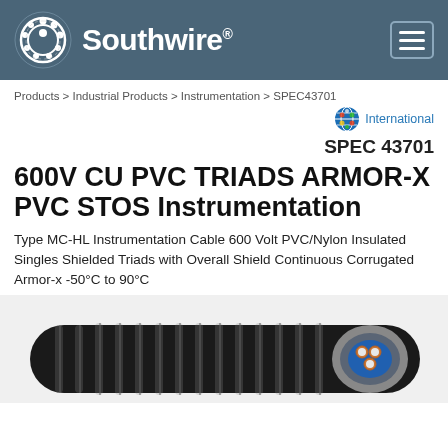Southwire
Products > Industrial Products > Instrumentation > SPEC43701
International
SPEC 43701
600V CU PVC TRIADS ARMOR-X PVC STOS Instrumentation
Type MC-HL Instrumentation Cable 600 Volt PVC/Nylon Insulated Singles Shielded Triads with Overall Shield Continuous Corrugated Armor-x -50°C to 90°C
[Figure (photo): Cross-section photo of armored instrumentation cable showing corrugated black armor exterior, silver shield layer, blue insulation, and copper conductor triads]